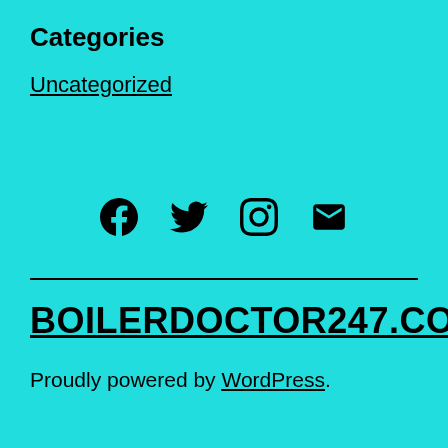Categories
Uncategorized
[Figure (other): Social media icons: Facebook, Twitter, Instagram, Email]
BOILERDOCTOR247.COM
Proudly powered by WordPress.